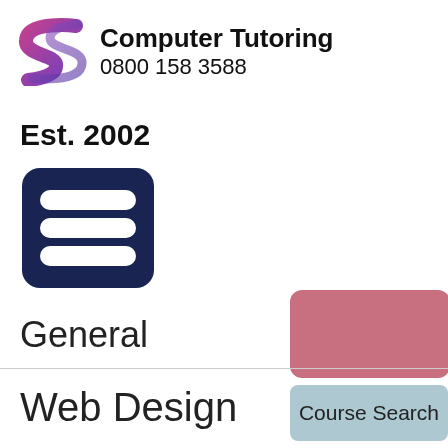[Figure (logo): Computer Tutoring logo with stylized S shape in pink/purple gradient and company name and phone number]
Est. 2002
[Figure (other): Dark navy blue hamburger menu icon with three horizontal rounded bars]
[Figure (other): Pink/rose colored rounded rectangle button (partially visible, no text)]
Course Search
General
Web Design